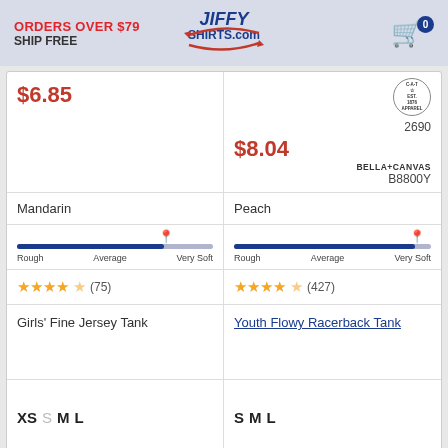ORDERS OVER $79 SHIP FREE | JiffyShirts.com | Cart: 0
|  | Product 1 | Product 2 |
| --- | --- | --- |
| Price | $6.85 | $8.04 |
| Brand/SKU | CAT 2690 | BELLA+CANVAS B8800Y |
| Color | Mandarin | Peach |
| Softness | Near Very Soft | Very Soft |
| Rating | 4.5 stars (75) | 4.5 stars (427) |
| Name | Girls' Fine Jersey Tank | Youth Flowy Racerback Tank |
| Sizes | XS S M L | S M L |
| Ships from | Ships from SubliVie | Ships from JiffyShirts |
| Returns | Free Return Within 100 Days | Free Return Within 100 Days |